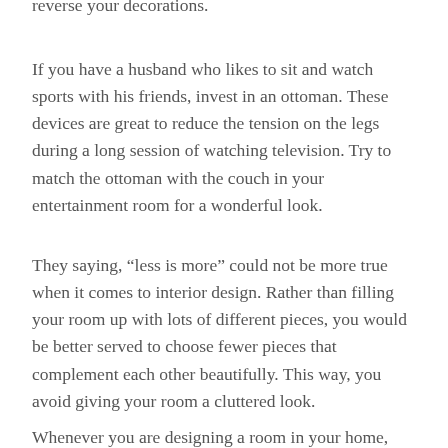reverse your decorations.
If you have a husband who likes to sit and watch sports with his friends, invest in an ottoman. These devices are great to reduce the tension on the legs during a long session of watching television. Try to match the ottoman with the couch in your entertainment room for a wonderful look.
They saying, “less is more” could not be more true when it comes to interior design. Rather than filling your room up with lots of different pieces, you would be better served to choose fewer pieces that complement each other beautifully. This way, you avoid giving your room a cluttered look.
Whenever you are designing a room in your home,